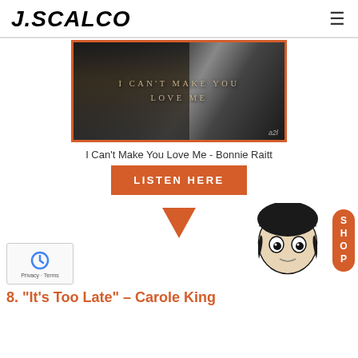J.SCALCO
[Figure (photo): Black and white photo of someone with dark hair at a piano with text overlay reading 'I CAN'T MAKE YOU LOVE ME', framed with orange border]
I Can't Make You Love Me - Bonnie Raitt
LISTEN HERE
[Figure (illustration): Orange downward-pointing triangle arrow, cartoon mascot illustration of a dark-haired character, orange SHOP pill button]
8. "It's Too Late" – Carole King